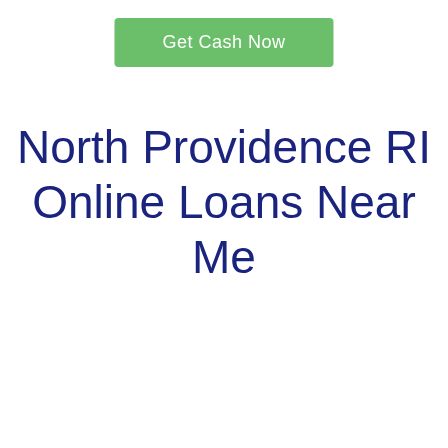[Figure (other): Green button with text 'Get Cash Now']
North Providence RI Online Loans Near Me